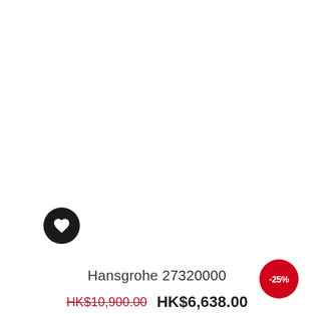[Figure (illustration): Wishlist/favorite heart icon inside a black circle button]
Hansgrohe 27320000
HK$10,900.00  HK$6,638.00
ENQUIRY
-25%